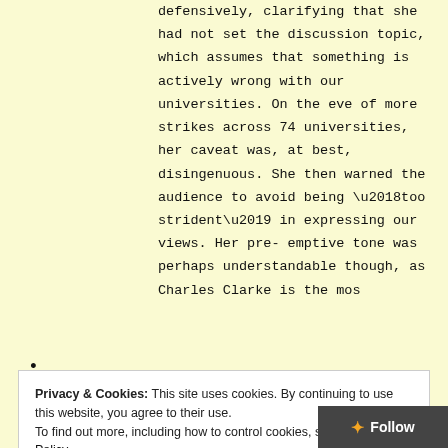defensively, clarifying that she had not set the discussion topic, which assumes that something is actively wrong with our universities. On the eve of more strikes across 74 universities, her caveat was, at best, disingenuous. She then warned the audience to avoid being ‘too strident’ in expressing our views. Her pre-emptive tone was perhaps understandable though, as Charles Clarke is the mos...
Privacy & Cookies: This site uses cookies. By continuing to use this website, you agree to their use.
To find out more, including how to control cookies, see here: Cookie Policy
The panel members each had